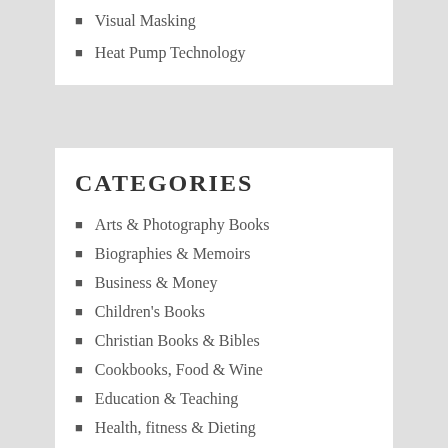Visual Masking
Heat Pump Technology
CATEGORIES
Arts & Photography Books
Biographies & Memoirs
Business & Money
Children's Books
Christian Books & Bibles
Cookbooks, Food & Wine
Education & Teaching
Health, fitness & Dieting
History
Literature & Fiction